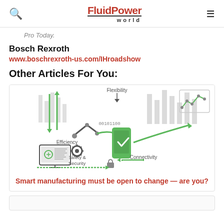FluidPower world
Pro Today.
Bosch Rexroth
www.boschrexroth-us.com/IHroadshow
Other Articles For You:
[Figure (infographic): Smart manufacturing infographic showing interconnected concepts: Flexibility, Efficiency, Safety & Security, Connectivity with green and grey arrows and icons including a robot arm, gear, mobile phone with checkmark, and bar charts.]
Smart manufacturing must be open to change — are you?